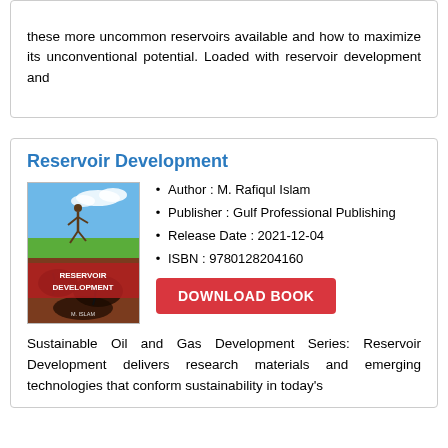these more uncommon reservoirs available and how to maximize its unconventional potential. Loaded with reservoir development and
Reservoir Development
Author : M. Rafiqul Islam
Publisher : Gulf Professional Publishing
Release Date : 2021-12-04
ISBN : 9780128204160
[Figure (illustration): Book cover of Reservoir Development showing a person running on grass above a cross-section of earth with oil/dark soil below, with the text RESERVOIR DEVELOPMENT and author name]
Sustainable Oil and Gas Development Series: Reservoir Development delivers research materials and emerging technologies that conform sustainability in today's